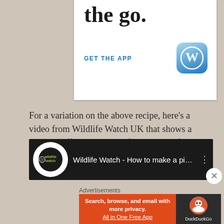[Figure (screenshot): WordPress 'Get the App' advertisement banner with WordPress logo icon and 'GET THE APP' text link, partial text reading 'the go.' visible at top]
For a variation on the above recipe, here’s a video from Wildlife Watch UK that shows a slightly different version of a pine cone feeder. This one is made out of lard, bird seed, breadcrumbs and dried fruit.
[Figure (screenshot): YouTube video thumbnail for 'Wildlife Watch - How to make a pi...' with Wildlife Watch channel logo]
Advertisements
[Figure (screenshot): DuckDuckGo advertisement: 'Search, browse, and email with more privacy. All in One Free App' with DuckDuckGo logo]